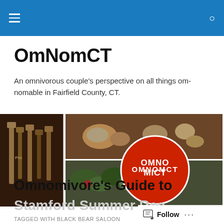OmNomCT – navigation header with hamburger menu and search icon
OmNomCT
An omnivorous couple's perspective on all things om-nomable in Fairfield County, CT.
[Figure (photo): Banner composite image: beer taps on left, food photos in the center with charcuterie and salad, round red OMNOMCT logo in the middle, more food on the right]
TAGGED WITH BLACK BEAR SALOON
Omnomivore's Guide to Stamford Summer Rec...